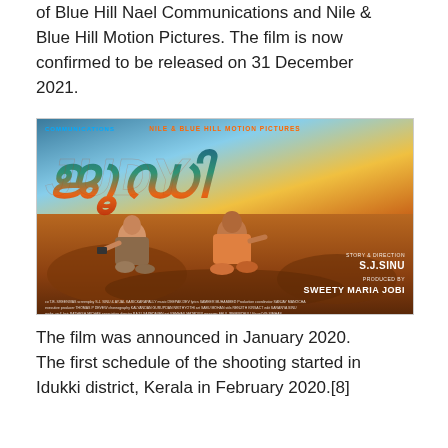of Blue Hill Nael Communications and Nile & Blue Hill Motion Pictures. The film is now confirmed to be released on 31 December 2021.
[Figure (photo): Movie poster for a Malayalam film showing two people (a woman holding a camera and a man) sitting on rocky desert terrain. Large stylized Malayalam script title in orange-red gradient. Text reads 'COMMUNICATIONS', 'NILE & BLUE HILL MOTION PICTURES', 'STORY & DIRECTION S.J.SINU', 'PRODUCED BY SWEETY MARIA JOBI' with production credits at the bottom.]
The film was announced in January 2020. The first schedule of the shooting started in Idukki district, Kerala in February 2020.[8]